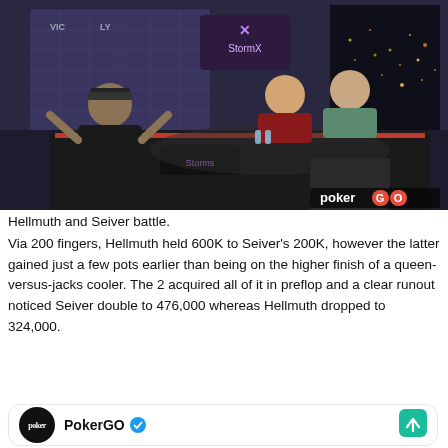[Figure (photo): Poker players seated at a professional poker table in a TV studio setting with PokerGO branding. One player in a black jacket stands gesturing, two other players are seated across the table. StormX sponsor banner visible in background.]
Hellmuth and Seiver battle.
Via 200 fingers, Hellmuth held 600K to Seiver’s 200K, however the latter gained just a few pots earlier than being on the higher finish of a queen-versus-jacks cooler. The 2 acquired all of it in preflop and a clear runout noticed Seiver double to 476,000 whereas Hellmuth dropped to 324,000.
[Figure (screenshot): PokerGO Twitter/social media card with circular avatar showing poker logo text and PokerGO account name with blue verified checkmark, and a teal share/retweet icon on the right.]